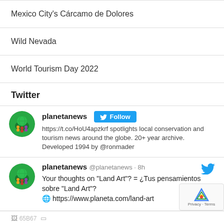Mexico City's Cárcamo de Dolores
Wild Nevada
World Tourism Day 2022
Twitter
[Figure (other): Twitter profile card for planetanews with Follow button and bio text: https://t.co/HoU4apzkrf spotlights local conservation and tourism news around the globe. 20+ year archive. Developed 1994 by @ronmader]
[Figure (other): Tweet from planetanews @planetanews 8h: Your thoughts on 'Land Art'? = ¿Tus pensamientos sobre 'Land Art'? https://www.planeta.com/land-art]